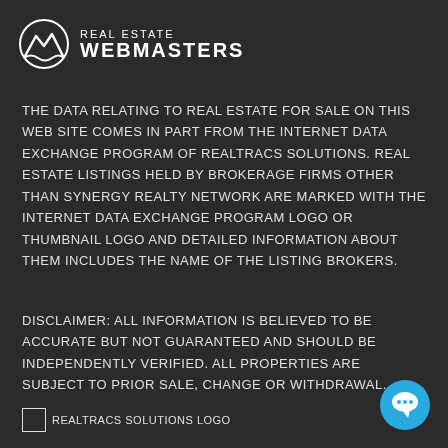[Figure (logo): Real Estate Webmasters logo with mountain/wave icon and text REAL ESTATE WEBMASTERS]
THE DATA RELATING TO REAL ESTATE FOR SALE ON THIS WEB SITE COMES IN PART FROM THE INTERNET DATA EXCHANGE PROGRAM OF REALTRACS SOLUTIONS. REAL ESTATE LISTINGS HELD BY BROKERAGE FIRMS OTHER THAN SYNERGY REALTY NETWORK ARE MARKED WITH THE INTERNET DATA EXCHANGE PROGRAM LOGO OR THUMBNAIL LOGO AND DETAILED INFORMATION ABOUT THEM INCLUDES THE NAME OF THE LISTING BROKERS.
DISCLAIMER: ALL INFORMATION IS BELIEVED TO BE ACCURATE BUT NOT GUARANTEED AND SHOULD BE INDEPENDENTLY VERIFIED. ALL PROPERTIES ARE SUBJECT TO PRIOR SALE, CHANGE OR WITHDRAWAL.
[Figure (logo): Realtracs Solutions logo placeholder]
[Figure (illustration): Blue circular chat/support button with speech bubble icon]